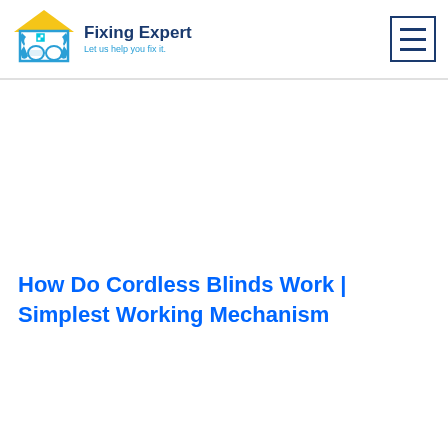Fixing Expert — Let us help you fix it.
How Do Cordless Blinds Work | Simplest Working Mechanism